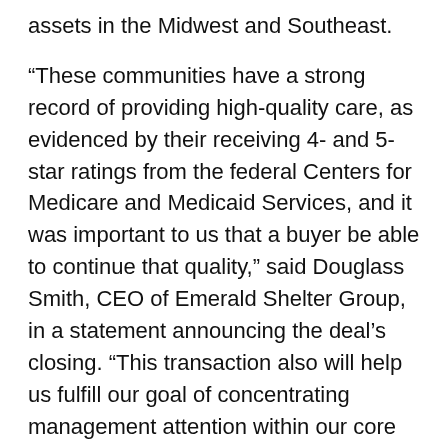assets in the Midwest and Southeast.
“These communities have a strong record of providing high-quality care, as evidenced by their receiving 4- and 5-star ratings from the federal Centers for Medicare and Medicaid Services, and it was important to us that a buyer be able to continue that quality,” said Douglass Smith, CEO of Emerald Shelter Group, in a statement announcing the deal’s closing. “This transaction also will help us fulfill our goal of concentrating management attention within our core geographic area to support our mission of delivering high-quality care.”
Emerald Shelter Group reportedly secured 22 offers for the facilities and to seek an acceptable buyer.